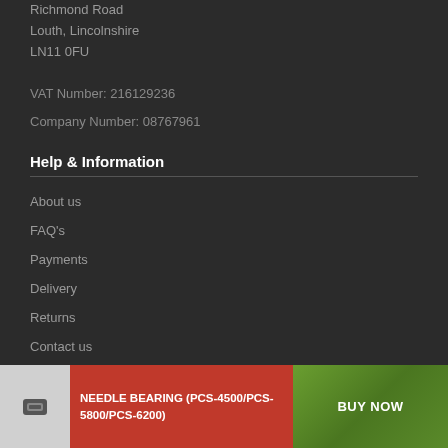Richmond Road
Louth, Lincolnshire
LN11 0FU
VAT Number: 216129236
Company Number: 08767961
Help & Information
About us
FAQ's
Payments
Delivery
Returns
Contact us
My Account
NEEDLE BEARING (PCS-4500/PCS-5800/PCS-6200)